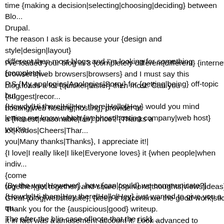time {making a decision|selecting|choosing|deciding} between Blo... Drupal. The reason I ask is because your {design and style|design|layout} different then most blogs and I'm looking for something {completel... P.S {My apologies|Apologies|Sorry} for {getting|being} off-topic but {Howdy|Hi there|Hi|Hey there|Hello|Hey} would you mind letting me know which {webhost|hosting company|web host} you're...
I've loaded your blog in 3 {completely different|different} {internet browsers|web browsers|browsers} and I must say this blog loads a lot {quicker|faster} then most. Can you {suggest|recommend} hosting|web hosting|hosting} provider at a {honest|reasonable|fair} price? {Thanks a lot|Kudos|Cheers|Than... you|Many thanks|Thanks}, I appreciate it! {I love|I really like|I like|Everyone loves} it {when people|when indi... {come together|get together} and share {opinions|thoughts|views|ideas}. Great {blog|website|site}, {keep it up|continue the good work|stick... Thank you for the {auspicious|good} writeup. It in fact was a amusement account it. Look advanced to {far|more...
{By the way|However}, how {can|could} we communicate?| {Howdy|Hi there|Hey there|Hello|Hey} just wanted to give you a qu... The after the b|in case of|note that the risk}...